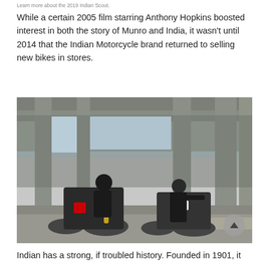Learn more about the 2019 Indian Scout.
While a certain 2005 film starring Anthony Hopkins boosted interest in both the story of Munro and India, it wasn't until 2014 that the Indian Motorcycle brand returned to selling new bikes in stores.
[Figure (photo): Two riders on Indian motorcycles parked under a highway overpass. One rider sits on a dark motorcycle with red frame accents and gold forks, the other stands beside a dark motorcycle with white accents. Both riders wear helmets and dark gear.]
Indian has a strong, if troubled history. Founded in 1901, it